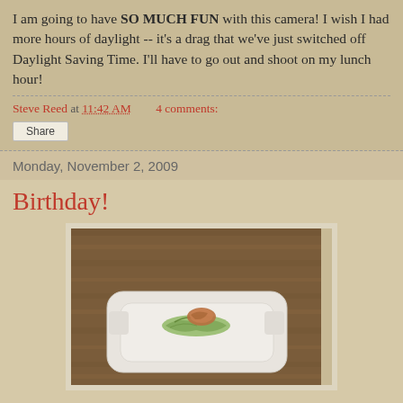I am going to have SO MUCH FUN with this camera! I wish I had more hours of daylight -- it's a drag that we've just switched off Daylight Saving Time. I'll have to go out and shoot on my lunch hour!
Steve Reed at 11:42 AM    4 comments:
Share
Monday, November 2, 2009
Birthday!
[Figure (photo): A white rectangular plate with a salad and food topping, photographed on a wooden surface background.]